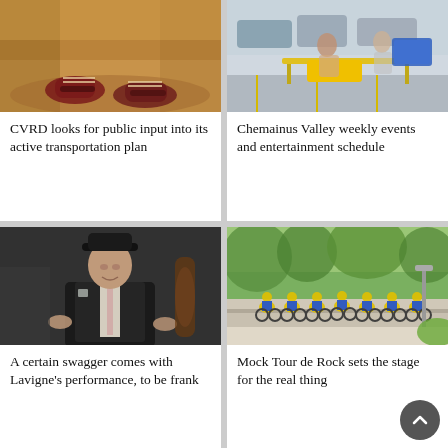[Figure (photo): Close-up of person's feet running on a dirt path through trees, wearing red and black running shoes]
CVRD looks for public input into its active transportation plan
[Figure (photo): People sitting at an outdoor table/stand in a parking lot with yellow and black equipment, someone being assisted]
Chemainus Valley weekly events and entertainment schedule
[Figure (photo): Man in dark suit and fedora hat performing/speaking with a cello visible behind him]
A certain swagger comes with Lavigne's performance, to be frank
[Figure (photo): Group of cyclists in yellow and blue jerseys racing on a street lined with trees]
Mock Tour de Rock sets the stage for the real thing